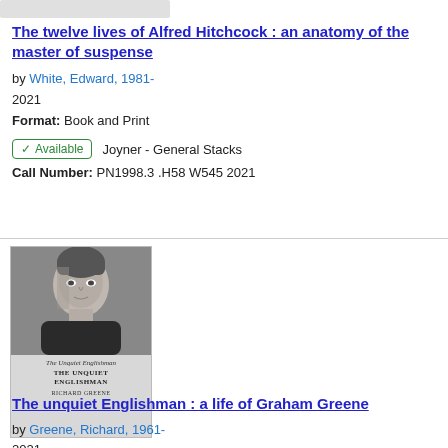The twelve lives of Alfred Hitchcock : an anatomy of the master of suspense
by White, Edward, 1981-
2021
Format: Book and Print
✓ Available   Joyner - General Stacks
Call Number: PN1998.3 .H58 W545 2021
[Figure (photo): Book cover of 'The Unquiet Englishman' showing a black and white photo of a man's face and the title text]
The unquiet Englishman : a life of Graham Greene
by Greene, Richard, 1961-
2021
Format: Book and Print